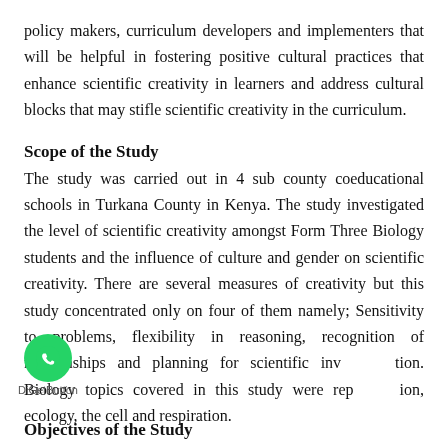policy makers, curriculum developers and implementers that will be helpful in fostering positive cultural practices that enhance scientific creativity in learners and address cultural blocks that may stifle scientific creativity in the curriculum.
Scope of the Study
The study was carried out in 4 sub county coeducational schools in Turkana County in Kenya. The study investigated the level of scientific creativity amongst Form Three Biology students and the influence of culture and gender on scientific creativity. There are several measures of creativity but this study concentrated only on four of them namely; Sensitivity to problems, flexibility in reasoning, recognition of relationships and planning for scientific investigation. Biology topics covered in this study were reproduction, ecology, the cell and respiration.
Objectives of the Study